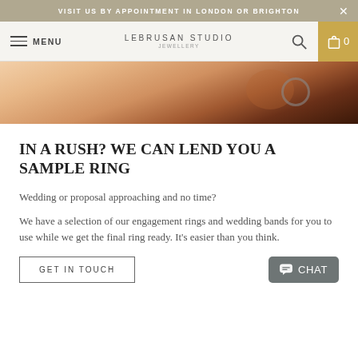VISIT US BY APPOINTMENT IN LONDON OR BRIGHTON
MENU | LEBRUSAN STUDIO JEWELLERY | 0
[Figure (photo): Close-up of a hand wearing a ring on a finger, showing skin texture and a dark wooden or stone background element.]
IN A RUSH? WE CAN LEND YOU A SAMPLE RING
Wedding or proposal approaching and no time?
We have a selection of our engagement rings and wedding bands for you to use while we get the final ring ready. It's easier than you think.
GET IN TOUCH
CHAT